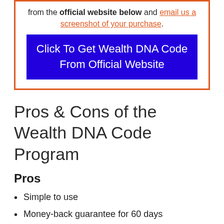from the official website below and email us a screenshot of your purchase.
[Figure (other): Blue button: Click To Get Wealth DNA Code From Official Website]
Pros & Cons of the Wealth DNA Code Program
Pros
Simple to use
Money-back guarantee for 60 days
Aids in the manifestation of wants